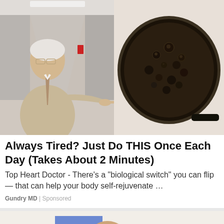[Figure (photo): A doctor in a beige suit pointing at a pan of boiling/simmering dark food on the right side. The doctor appears to be an older white-haired man with glasses in a hospital corridor setting.]
Always Tired? Just Do THIS Once Each Day (Takes About 2 Minutes)
Top Heart Doctor - There’s a “biological switch” you can flip — that can help your body self-rejuvenate …
Gundry MD | Sponsored
[Figure (photo): Partial view of another advertisement below, showing a person's head and a blue rectangle element.]